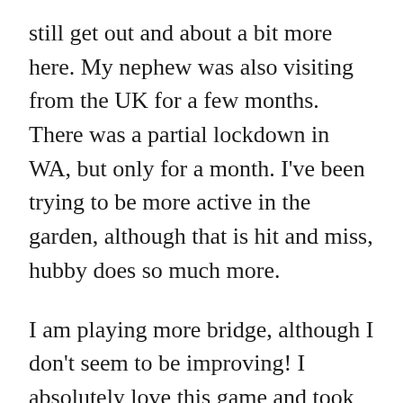still get out and about a bit more here. My nephew was also visiting from the UK for a few months. There was a partial lockdown in WA, but only for a month. I've been trying to be more active in the garden, although that is hit and miss, hubby does so much more.
I am playing more bridge, although I don't seem to be improving! I absolutely love this game and took lessons for the first time two years ago. I've gone from once a week to twice a week now and on Friday I will be playing with a 93 year Italian man as my